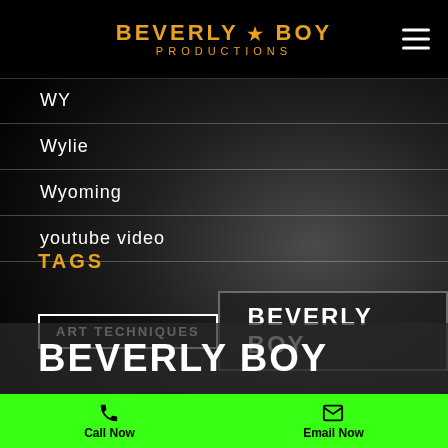BEVERLY BOY PRODUCTIONS
WY
Wylie
Wyoming
youtube video
TAGS
ART TECHNIQUES
BEVERLY BOY
BEVERLY BOY
Call Now  Email Now